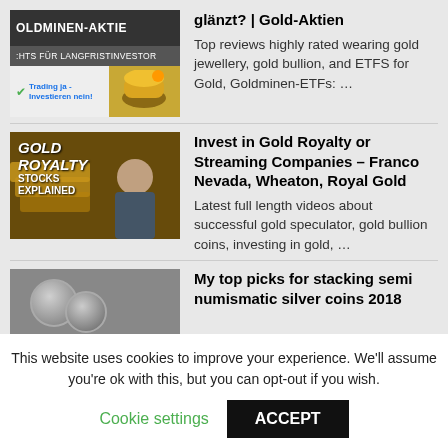[Figure (screenshot): Thumbnail for Goldminen-Aktie video with dark header bar and trading badge]
glänzt? | Gold-Aktien

Top reviews highly rated wearing gold jewellery, gold bullion, and ETFS for Gold, Goldminen-ETFs: …
[Figure (screenshot): Thumbnail for Gold Royalty Stocks Explained video with gold bar background and man in suit]
Invest in Gold Royalty or Streaming Companies – Franco Nevada, Wheaton, Royal Gold

Latest full length videos about successful gold speculator, gold bullion coins, investing in gold, …
[Figure (screenshot): Thumbnail for semi numismatic silver coins video showing silver coins]
My top picks for stacking semi numismatic silver coins 2018
This website uses cookies to improve your experience. We'll assume you're ok with this, but you can opt-out if you wish.

Cookie settings    ACCEPT